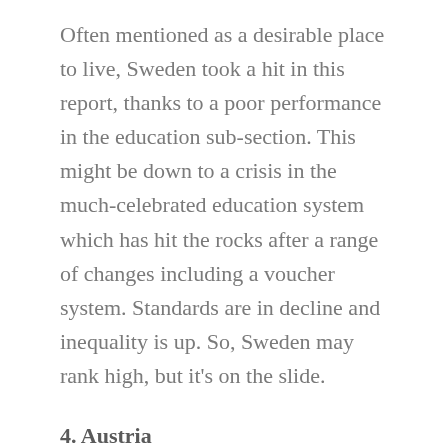Often mentioned as a desirable place to live, Sweden took a hit in this report, thanks to a poor performance in the education sub-section. This might be down to a crisis in the much-celebrated education system which has hit the rocks after a range of changes including a voucher system. Standards are in decline and inequality is up. So, Sweden may rank high, but it's on the slide.
4. Austria
Last year's winner was Austria, but it's slipped back this year having failed to impress in the quality of education and